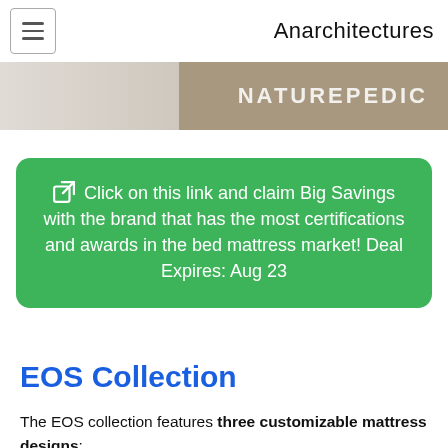Anarchitectures
[Figure (photo): Naturepedic banner image with beige/tan gradient background and 'NATUREPEDIC' text in white on the right side]
Click on this link and claim Big Savings with the brand that has the most certifications and awards in the bed mattress market! Deal Expires: Aug 23
EOS Collection
The EOS collection features three customizable mattress designs: